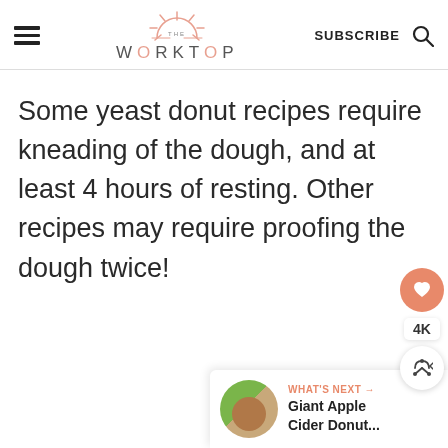THE WORKTOP | SUBSCRIBE
Some yeast donut recipes require kneading of the dough, and at least 4 hours of resting. Other recipes may require proofing the dough twice!
[Figure (infographic): Floating sidebar with heart/like button showing salmon/orange circle with heart icon, 4K count label, and share button with circle arrow icon]
[Figure (infographic): What's Next panel in bottom-right corner with circular thumbnail image of Giant Apple Cider Donut, label 'WHAT'S NEXT →', and title 'Giant Apple Cider Donut...']